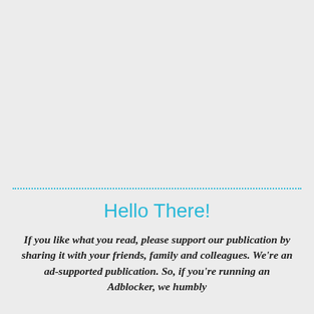Hello There!
If you like what you read, please support our publication by sharing it with your friends, family and colleagues. We're an ad-supported publication. So, if you're running an Adblocker, we humbly